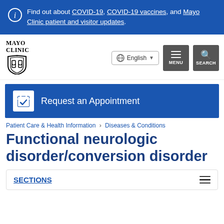Find out about COVID-19, COVID-19 vaccines, and Mayo Clinic patient and visitor updates.
[Figure (logo): Mayo Clinic logo with shield emblem]
English
MENU
SEARCH
Request an Appointment
Patient Care & Health Information > Diseases & Conditions
Functional neurologic disorder/conversion disorder
SECTIONS